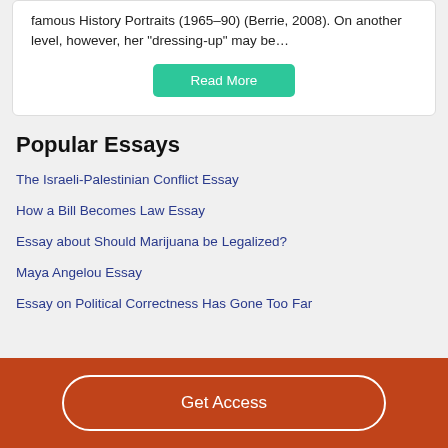famous History Portraits (1965–90) (Berrie, 2008). On another level, however, her "dressing-up" may be…
Read More
Popular Essays
The Israeli-Palestinian Conflict Essay
How a Bill Becomes Law Essay
Essay about Should Marijuana be Legalized?
Maya Angelou Essay
Essay on Political Correctness Has Gone Too Far
Get Access